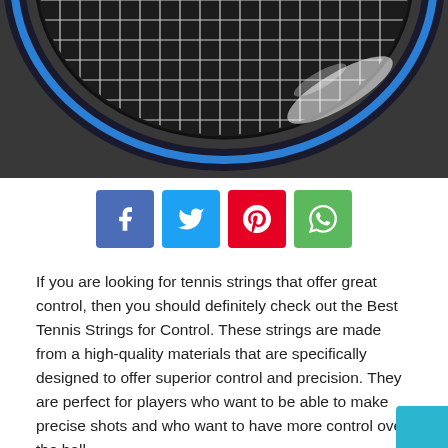[Figure (photo): Close-up photo of a blue and black tennis racket head with white strings, on a dark gray background, viewed from above. Top portion of the racket frame is visible.]
[Figure (infographic): Row of four social media share buttons: Facebook (blue), Twitter (cyan), Pinterest (red), WhatsApp (green).]
If you are looking for tennis strings that offer great control, then you should definitely check out the Best Tennis Strings for Control. These strings are made from a high-quality materials that are specifically designed to offer superior control and precision. They are perfect for players who want to be able to make precise shots and who want to have more control over the ball.